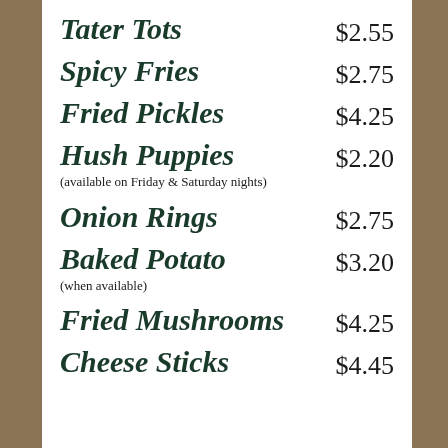Tater Tots $2.55
Spicy Fries $2.75
Fried Pickles $4.25
Hush Puppies $2.20
(available on Friday & Saturday nights)
Onion Rings $2.75
Baked Potato $3.20
(when available)
Fried Mushrooms $4.25
Cheese Sticks $4.45